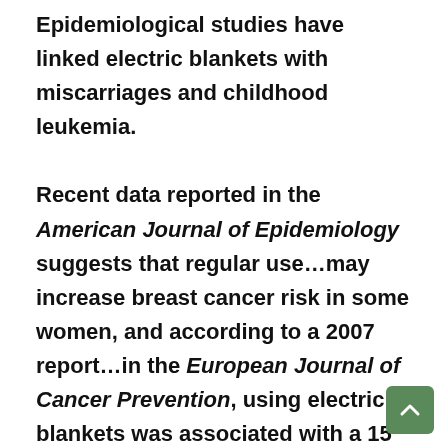Epidemiological studies have linked electric blankets with miscarriages and childhood leukemia.

Recent data reported in the American Journal of Epidemiology suggests that regular use…may increase breast cancer risk in some women, and according to a 2007 report…in the European Journal of Cancer Prevention, using electric blankets was associated with a 15 percent higher prevalence of